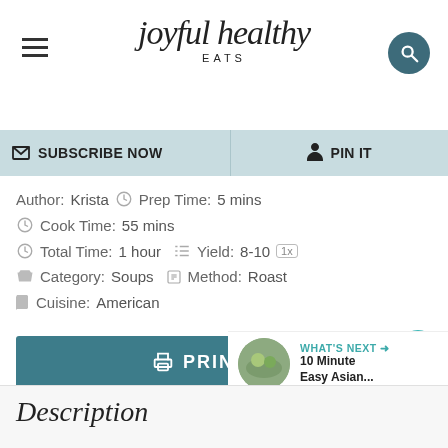joyful healthy EATS
SUBSCRIBE NOW   PIN IT
Author: Krista  Prep Time: 5 mins
Cook Time: 55 mins
Total Time: 1 hour  Yield: 8-10 1x
Category: Soups  Method: Roast
Cuisine: American
PRINT
PIN
3.1K
WHAT'S NEXT → 10 Minute Easy Asian...
Description